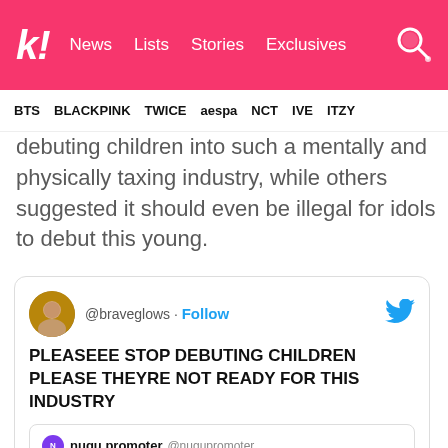kl! News Lists Stories Exclusives
BTS BLACKPINK TWICE aespa NCT IVE ITZY
debuting children into such a mentally and physically taxing industry, while others suggested it should even be illegal for idols to debut this young.
[Figure (screenshot): Embedded tweet from @braveglows with Follow button and Twitter bird icon. Tweet text: PLEASEEE STOP DEBUTING CHILDREN PLEASE THEYRE NOT READY FOR THIS INDUSTRY. Quoted tweet from nugu promoter @nugupromoter: AMX Entertainment has announced the 2nd member of their new girl group, Haeun Kim]